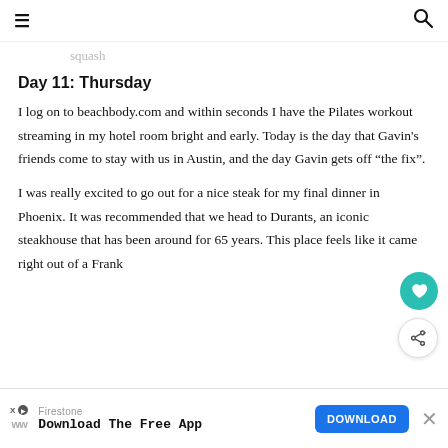☰ [menu] [search]
squash
Day 11: Thursday
I log on to beachbody.com and within seconds I have the Pilates workout streaming in my hotel room bright and early. Today is the day that Gavin's friends come to stay with us in Austin, and the day Gavin gets off "the fix".
I was really excited to go out for a nice steak for my final dinner in Phoenix. It was recommended that we head to Durants, an iconic steakhouse that has been around for 65 years. This place feels like it came right out of a Frank